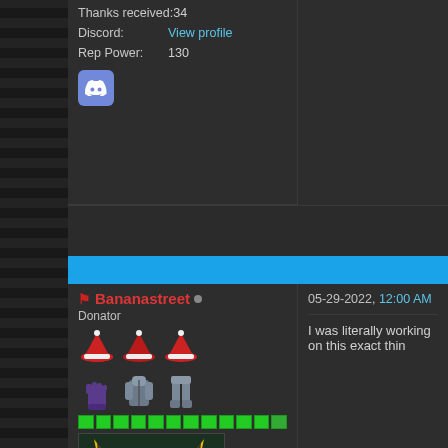Thanks received: 34
Discord: View profile
Rep Power: 130
Bananastreet
Donator
05-29-2022, 12:00 AM
I was literally working on this exact thin
Join Date: Jul 2011